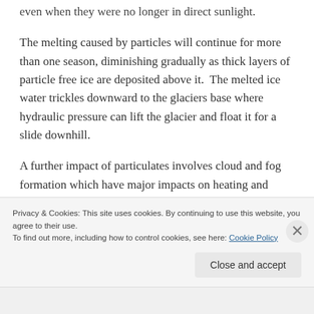even when they were no longer in direct sunlight.
The melting caused by particles will continue for more than one season, diminishing gradually as thick layers of particle free ice are deposited above it.  The melted ice water trickles downward to the glaciers base where hydraulic pressure can lift the glacier and float it for a slide downhill.
A further impact of particulates involves cloud and fog formation which have major impacts on heating and cooling.   Two very powerful examples
Privacy & Cookies: This site uses cookies. By continuing to use this website, you agree to their use.
To find out more, including how to control cookies, see here: Cookie Policy
Close and accept